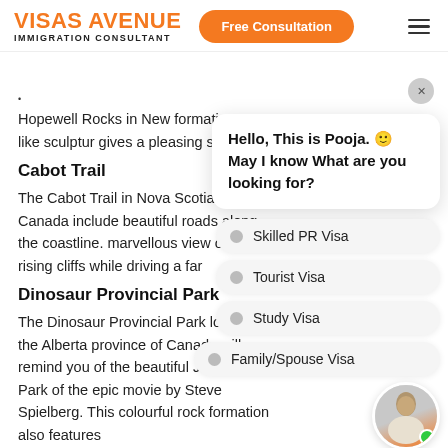VISAS AVENUE IMMIGRATION CONSULTANT | Free Consultation
Hopewell Rocks in New formation like sculptur gives a pleasing site to
Cabot Trail
The Cabot Trail in Nova Scotia, Canada include beautiful roads along the coastline. marvellous view of rising cliffs while driving a far
Dinosaur Provincial Park
The Dinosaur Provincial Park located in the Alberta province of Canada will remind you of the beautiful Jurassic Park of the epic movie by Steve Spielberg. This colourful rock formation also features
[Figure (screenshot): Chat widget overlay showing greeting message from Pooja with visa type options: Skilled PR Visa, Tourist Visa, Study Visa, Family/Spouse Visa]